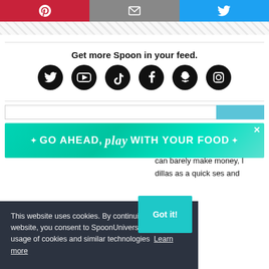[Figure (screenshot): Share buttons row: Pinterest (red), Email (gray), Twitter (blue)]
Get more Spoon in your feed.
[Figure (screenshot): Row of 6 social media icons: Twitter, YouTube, TikTok, Facebook, Snapchat, Instagram]
[Figure (screenshot): Search bar with blue button]
[Figure (infographic): Advertisement banner: GO AHEAD, play WITH YOUR FOOD on teal gradient background]
This website uses cookies. By continuing to use this website, you consent to SpoonUniversity.com's usage of cookies and similar technologies  Learn more
can barely make money, I dillas as a quick ses and